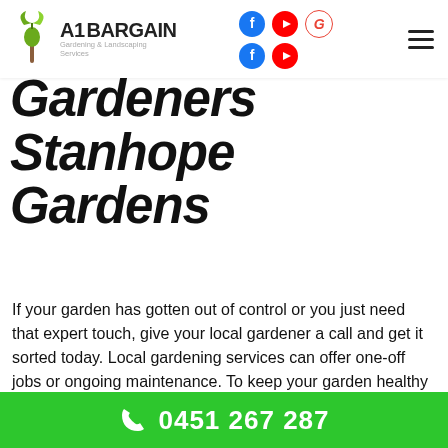A1 Bargain Gardening & Landscaping Services — navigation header with social icons
Gardeners Stanhope Gardens
If your garden has gotten out of control or you just need that expert touch, give your local gardener a call and get it sorted today. Local gardening services can offer one-off jobs or ongoing maintenance. To keep your garden healthy and controlled all year round, contact your local
0451 267 287